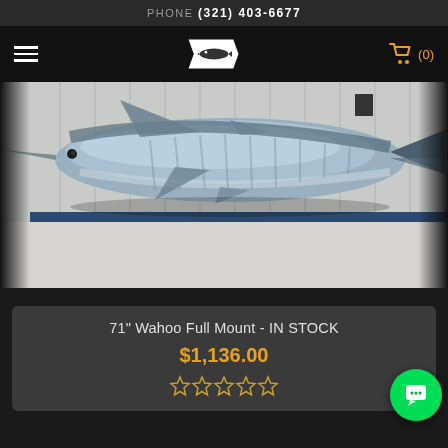PHONE (321) 403-6677
[Figure (photo): Navigation bar with hamburger menu, fish logo badge in center, and gold shopping cart icon with (0) on dark background]
[Figure (photo): A large taxidermy wahoo fish (full body mount) displayed on a wall in what appears to be a warehouse or shop. The fish is silver/blue colored with a pointed bill and forked tail.]
71" Wahoo Full Mount - IN STOCK
$1,136.00
[Figure (other): Five empty/outline star rating icons]